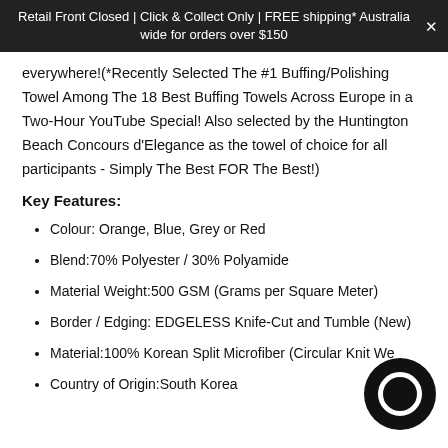Retail Front Closed | Click & Collect Only | FREE shipping* Australia wide for orders over $150
everywhere!(*Recently Selected The #1 Buffing/Polishing Towel Among The 18 Best Buffing Towels Across Europe in a Two-Hour YouTube Special! Also selected by the Huntington Beach Concours d'Elegance as the towel of choice for all participants - Simply The Best FOR The Best!)
Key Features:
Colour: Orange, Blue, Grey or Red
Blend:70% Polyester / 30% Polyamide
Material Weight:500 GSM (Grams per Square Meter)
Border / Edging: EDGELESS Knife-Cut and Tumble (New)
Material:100% Korean Split Microfiber (Circular Knit We...
Country of Origin:South Korea